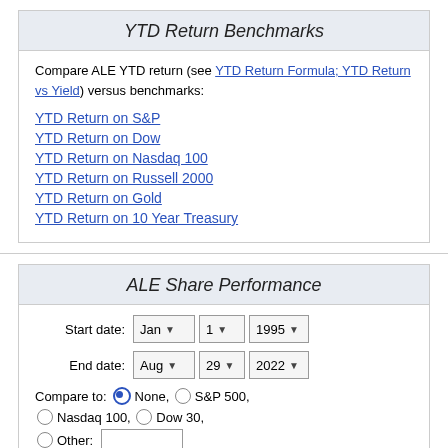YTD Return Benchmarks
Compare ALE YTD return (see YTD Return Formula; YTD Return vs Yield) versus benchmarks:
YTD Return on S&P
YTD Return on Dow
YTD Return on Nasdaq 100
YTD Return on Russell 2000
YTD Return on Gold
YTD Return on 10 Year Treasury
ALE Share Performance
Start date: Jan 1 1995 | End date: Aug 29 2022 | Compare to: None, S&P 500, Nasdaq 100, Dow 30, Other:
Chart $10K invested in ALE